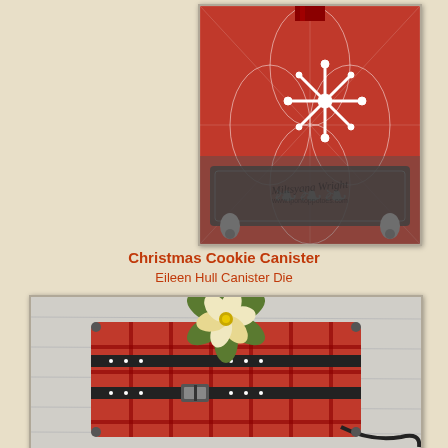[Figure (photo): Close-up photo of a Christmas cookie canister with red and white patterned paper, white snowflake decoration, ornate dark metal trim with bells, sitting on a surface. Watermark reads 'Miltsyana Wright www.ipontoppotoes.com']
Christmas Cookie Canister
Eileen Hull Canister Die
[Figure (photo): Photo of a Christmas cookie canister shaped like a suitcase/trunk with red plaid pattern, black straps with silver buckles, and a gold and cream poinsettia flower decoration on top, with a black rope handle.]